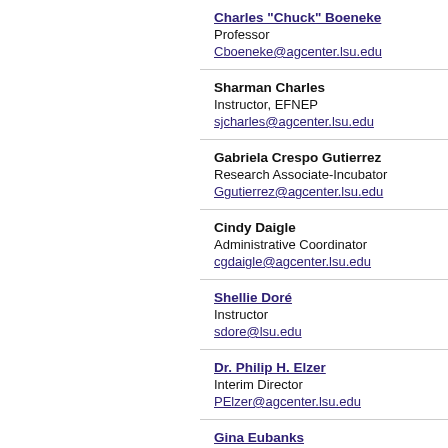Charles "Chuck" Boeneke
Professor
Cboeneke@agcenter.lsu.edu
Sharman Charles
Instructor, EFNEP
sjcharles@agcenter.lsu.edu
Gabriela Crespo Gutierrez
Research Associate-Incubator
Ggutierrez@agcenter.lsu.edu
Cindy Daigle
Administrative Coordinator
cgdaigle@agcenter.lsu.edu
Shellie Doré
Instructor
sdore@lsu.edu
Dr. Philip H. Elzer
Interim Director
PElzer@agcenter.lsu.edu
Gina Eubanks
AVP & Program Leader
GEubanks@agcenter.lsu.edu
Jamila Freightman
Extension Associate